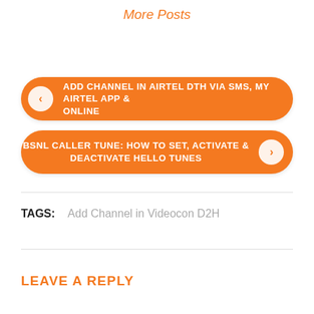More Posts
ADD CHANNEL IN AIRTEL DTH VIA SMS, MY AIRTEL APP & ONLINE
BSNL CALLER TUNE: HOW TO SET, ACTIVATE & DEACTIVATE HELLO TUNES
TAGS: Add Channel in Videocon D2H
LEAVE A REPLY